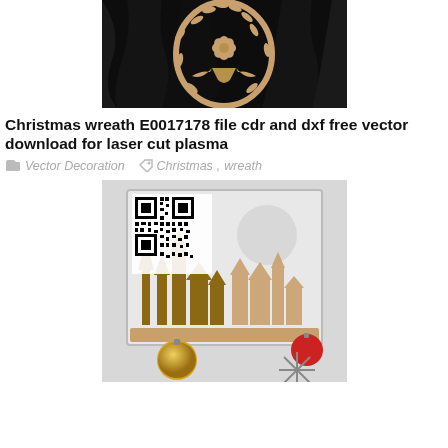[Figure (photo): Christmas wreath laser cut decoration on black draped fabric background, showing wooden ornamental wreath with bow]
Christmas wreath E0017178 file cdr and dxf free vector download for laser cut plasma
Vector Decoration   Christmas, wreath
[Figure (photo): Laser cut wooden miniature Christmas village scene in a frame with QR code in top left corner, gold and red ornament balls in foreground, snowflake decoration]